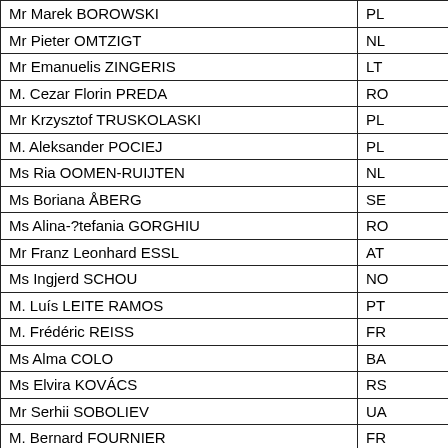| Name | Country |
| --- | --- |
| Mr Marek BOROWSKI | PL |
| Mr Pieter OMTZIGT | NL |
| Mr Emanuelis ZINGERIS | LT |
| M. Cezar Florin PREDA | RO |
| Mr Krzysztof TRUSKOLASKI | PL |
| M. Aleksander POCIEJ | PL |
| Ms Ria OOMEN-RUIJTEN | NL |
| Ms Boriana ÅBERG | SE |
| Ms Alina-?tefania GORGHIU | RO |
| Mr Franz Leonhard ESSL | AT |
| Ms Ingjerd SCHOU | NO |
| M. Luís LEITE RAMOS | PT |
| M. Frédéric REISS | FR |
| Ms Alma COLO | BA |
| Ms Elvira KOVÁCS | RS |
| Mr Serhii SOBOLIEV | UA |
| M. Bernard FOURNIER | FR |